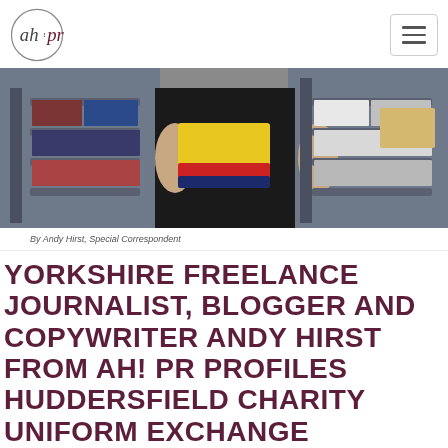ah!pr
[Figure (photo): Person holding colourful folded clothes in a storage room with shelves of clothing.]
By Andy Hirst, Special Correspondent
YORKSHIRE FREELANCE JOURNALIST, BLOGGER AND COPYWRITER ANDY HIRST FROM AH! PR PROFILES HUDDERSFIELD CHARITY UNIFORM EXCHANGE
Andy Hirst from Huddersfield PR agency AH! PR providing free service for charities needing publicity